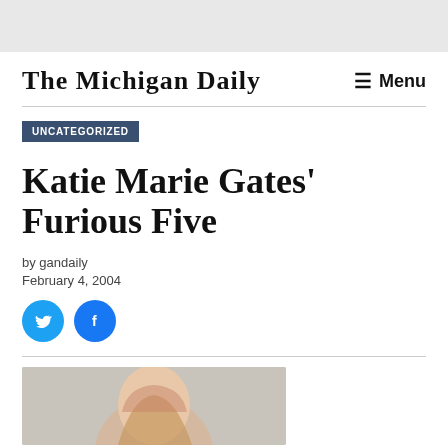The Michigan Daily
UNCATEGORIZED
Katie Marie Gates' Furious Five
by gandaily
February 4, 2004
[Figure (photo): Social media share buttons: Twitter (blue bird icon) and Facebook (blue f icon)]
[Figure (photo): Partial photo of a person with blonde/reddish hair, cropped at bottom of page]